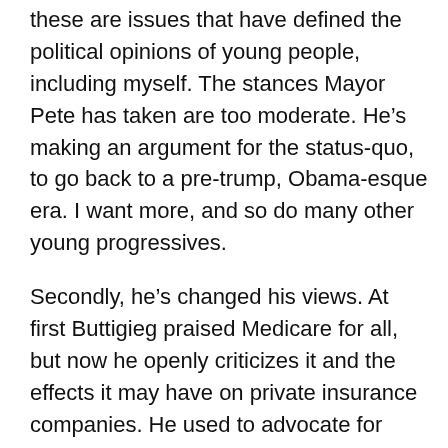these are issues that have defined the political opinions of young people, including myself. The stances Mayor Pete has taken are too moderate. He's making an argument for the status-quo, to go back to a pre-trump, Obama-esque era. I want more, and so do many other young progressives.
Secondly, he's changed his views. At first Buttigieg praised Medicare for all, but now he openly criticizes it and the effects it may have on private insurance companies. He used to advocate for progressive and even radical ideas such as overhauling the supreme court and removing the filibuster, but not anymore. In contrast to a candidate like Bernie Sanders who has been unwavering in his positions for